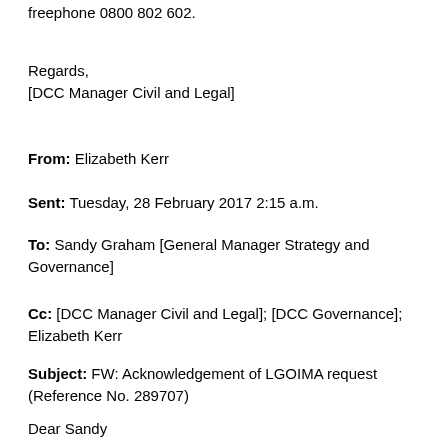freephone 0800 802 602.
Regards,
[DCC Manager Civil and Legal]
From: Elizabeth Kerr
Sent: Tuesday, 28 February 2017 2:15 a.m.
To: Sandy Graham [General Manager Strategy and Governance]
Cc: [DCC Manager Civil and Legal]; [DCC Governance]; Elizabeth Kerr
Subject: FW: Acknowledgement of LGOIMA request (Reference No. 289707)
Dear Sandy
No response was received from council officers by 27 February as they indicate below by email